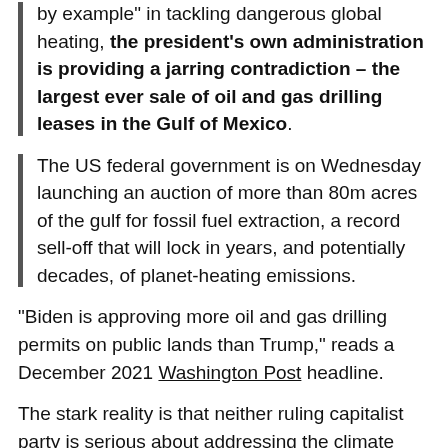by example" in tackling dangerous global heating, the president's own administration is providing a jarring contradiction – the largest ever sale of oil and gas drilling leases in the Gulf of Mexico.
The US federal government is on Wednesday launching an auction of more than 80m acres of the gulf for fossil fuel extraction, a record sell-off that will lock in years, and potentially decades, of planet-heating emissions.
“Biden is approving more oil and gas drilling permits on public lands than Trump,” reads a December 2021 Washington Post headline.
The stark reality is that neither ruling capitalist party is serious about addressing the climate emergency, and humanity will pay an unimaginable price.